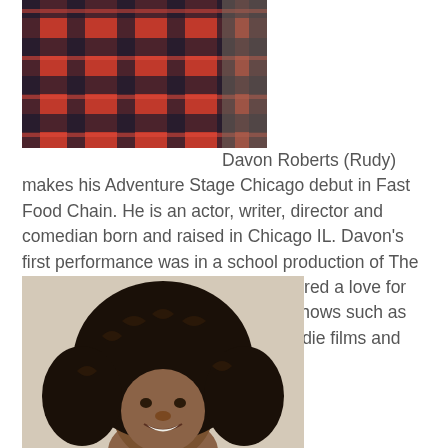[Figure (photo): Photo of Davon Roberts (Rudy) wearing a red and black plaid flannel shirt, cropped at the torso]
Davon Roberts (Rudy) makes his Adventure Stage Chicago debut in Fast Food Chain. He is an actor, writer, director and comedian born and raised in Chicago IL. Davon's first performance was in a school production of The Wiz. As time progressed, he discovered a love for acting on film. Davon has been on shows such as Chicago Fire and Shameless, two indie films and several student films.
[Figure (photo): Headshot photo of a young Black woman with large natural curly hair, smiling, against a light grey background]